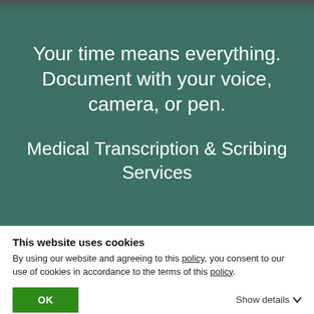[Figure (photo): Hero banner with teal/dark green background overlay showing medical documentation context. Top strip shows faint image of people.]
Your time means everything. Document with your voice, camera, or pen.
Medical Transcription & Scribing Services
This website uses cookies
By using our website and agreeing to this policy, you consent to our use of cookies in accordance to the terms of this policy.